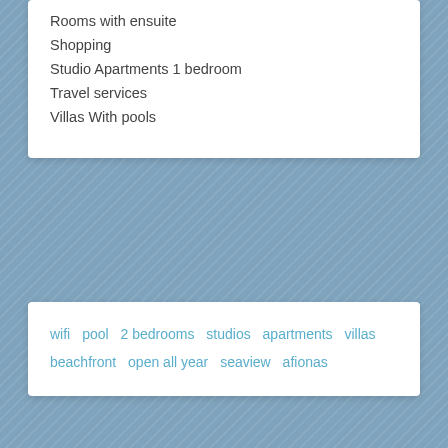Rooms with ensuite
Shopping
Studio Apartments 1 bedroom
Travel services
Villas With pools
wifi  pool  2 bedrooms  studios  apartments  villas  beachfront  open all year  seaview  afionas
About me | Arillas History | Taxi to Arillas | Boat hire | Pedros beach rentals | Videos | Terms and Conditions | Internet access | The size of Arillas Beach | Map ◦ Other maps